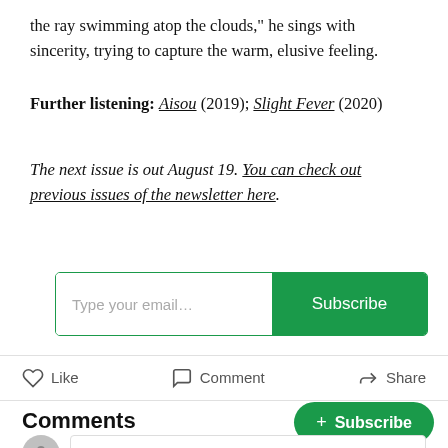the ray swimming atop the clouds,” he sings with sincerity, trying to capture the warm, elusive feeling.
Further listening: Aisou (2019); Slight Fever (2020)
The next issue is out August 19. You can check out previous issues of the newsletter here.
[Figure (screenshot): Email subscription box with text input 'Type your email...' and green 'Subscribe' button]
[Figure (screenshot): Action bar with Like, Comment, and Share buttons separated by dividers]
Comments
[Figure (screenshot): Green pill-shaped '+ Subscribe' button on the right]
[Figure (screenshot): Comment input area with user avatar and 'Write a comment...' placeholder text]